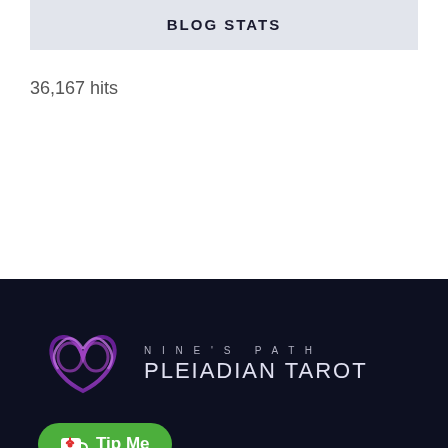BLOG STATS
36,167 hits
[Figure (logo): Nine's Path Pleiadian Tarot logo with a purple heart-shaped infinity symbol and text 'NINE'S PATH PLEIADIAN TAROT' on a dark navy background, with a green 'Tip Me' button featuring a coffee cup with a heart icon]